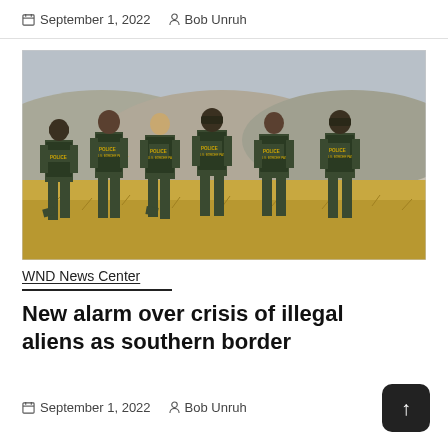September 1, 2022  Bob Unruh
[Figure (photo): Six US Border Patrol police officers standing in a line with their backs to the camera, overlooking a dry grassy field with hills in the background. Each officer wears a green uniform with 'POLICE U.S. BORDER PATROL' text on the back.]
WND News Center
New alarm over crisis of illegal aliens as southern border
September 1, 2022  Bob Unruh